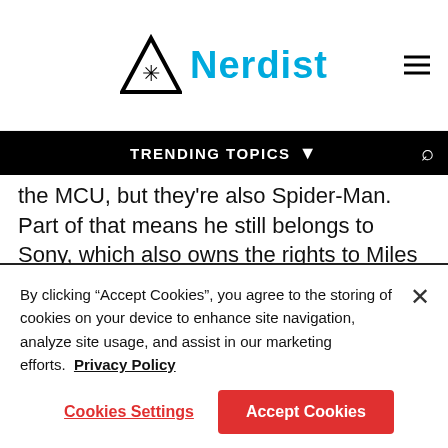Nerdist
TRENDING TOPICS
the MCU, but they're also Spider-Man. Part of that means he still belongs to Sony, which also owns the rights to Miles Morales, and which made the Tobey Maguire and Andrew Garfield Spider-Man movies.
Ads by Kiosked
By clicking “Accept Cookies”, you agree to the storing of cookies on your device to enhance site navigation, analyze site usage, and assist in our marketing efforts. Privacy Policy
Cookies Settings
Accept Cookies